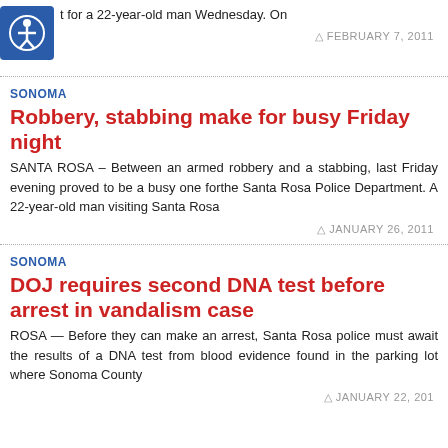t for a 22-year-old man Wednesday. On  FEBRUARY 7, 2011
SONOMA
Robbery, stabbing make for busy Friday night
SANTA ROSA – Between an armed robbery and a stabbing, last Friday evening proved to be a busy one forthe Santa Rosa Police Department. A 22-year-old man visiting Santa Rosa
JANUARY 26, 2011
SONOMA
DOJ requires second DNA test before arrest in vandalism case
ROSA — Before they can make an arrest, Santa Rosa police must await the results of a DNA test from blood evidence found in the parking lot where Sonoma County
JANUARY 22, 201...